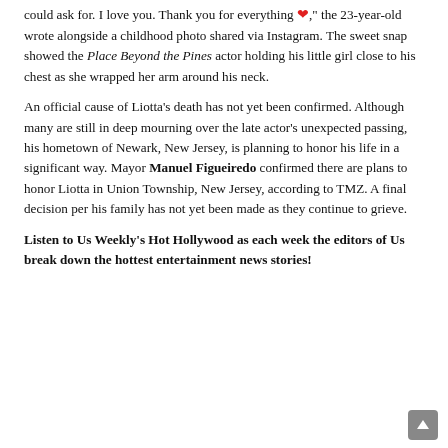could ask for. I love you. Thank you for everything ❤️," the 23-year-old wrote alongside a childhood photo shared via Instagram. The sweet snap showed the Place Beyond the Pines actor holding his little girl close to his chest as she wrapped her arm around his neck.
An official cause of Liotta's death has not yet been confirmed. Although many are still in deep mourning over the late actor's unexpected passing, his hometown of Newark, New Jersey, is planning to honor his life in a significant way. Mayor Manuel Figueiredo confirmed there are plans to honor Liotta in Union Township, New Jersey, according to TMZ. A final decision per his family has not yet been made as they continue to grieve.
Listen to Us Weekly's Hot Hollywood as each week the editors of Us break down the hottest entertainment news stories!